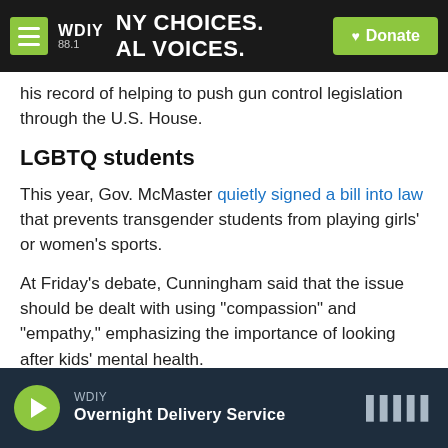WDIY 88.1 | NY CHOICES. LOCAL VOICES. | Donate
his record of helping to push gun control legislation through the U.S. House.
LGBTQ students
This year, Gov. McMaster quietly signed a bill into law that prevents transgender students from playing girls' or women's sports.
At Friday's debate, Cunningham said that the issue should be dealt with using "compassion" and "empathy," emphasizing the importance of looking after kids' mental health.
WDIY | Overnight Delivery Service